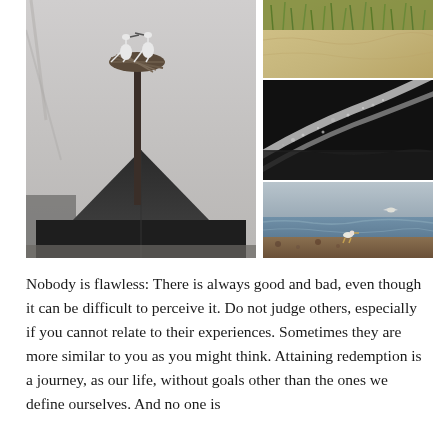[Figure (photo): Collage of four nature photographs: large left photo is black-and-white image of two storks in a nest atop a tall pole above a dark triangular barn roof; top-right is a color photo of sandy dunes with green grass; middle-right is a black-and-white close-up of ocean waves crashing on dark rocks/sand with diagonal foam lines; bottom-right is a color photo of seagulls on a rocky beach with waves and a seabird in flight.]
Nobody is flawless: There is always good and bad, even though it can be difficult to perceive it. Do not judge others, especially if you cannot relate to their experiences. Sometimes they are more similar to you as you might think. Attaining redemption is a journey, as our life, without goals other than the ones we define ourselves. And no one is